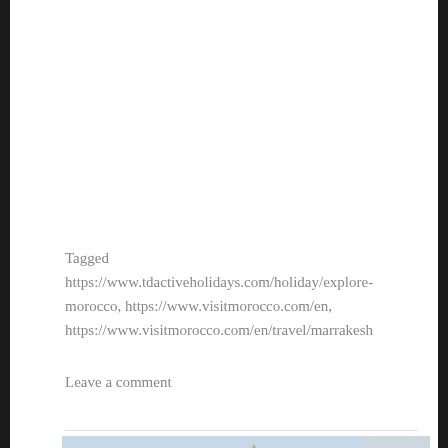Tagged https://www.tdactiveholidays.com/holiday/explore-morocco, https://www.visitmorocco.com/en, https://www.visitmorocco.com/en/travel/marrakesh
Leave a comment
[Figure (photo): Aerial view of London cityscape showing Big Ben, the Houses of Parliament, and surrounding area with trees and buildings.]